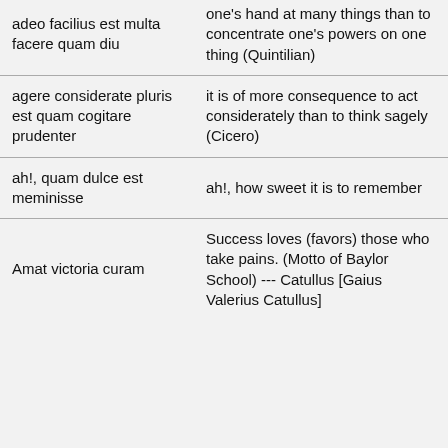| Latin | Translation |  |
| --- | --- | --- |
| adeo facilius est multa facere quam diu | one's hand at many things than to concentrate one's powers on one thing (Quintilian) | ☐ |
| agere considerate pluris est quam cogitare prudenter | it is of more consequence to act considerately than to think sagely (Cicero) | ☐ |
| ah!, quam dulce est meminisse | ah!, how sweet it is to remember | ☐ |
| Amat victoria curam | Success loves (favors) those who take pains. (Motto of Baylor School) --- Catullus [Gaius Valerius Catullus] | ☐ |